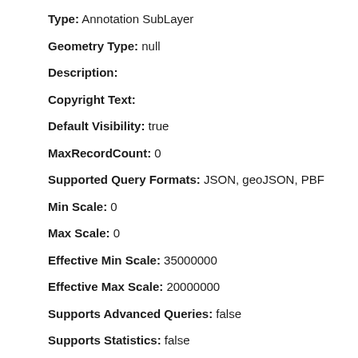Type: Annotation SubLayer
Geometry Type: null
Description:
Copyright Text:
Default Visibility: true
MaxRecordCount: 0
Supported Query Formats: JSON, geoJSON, PBF
Min Scale: 0
Max Scale: 0
Effective Min Scale: 35000000
Effective Max Scale: 20000000
Supports Advanced Queries: false
Supports Statistics: false
Has Labels: false